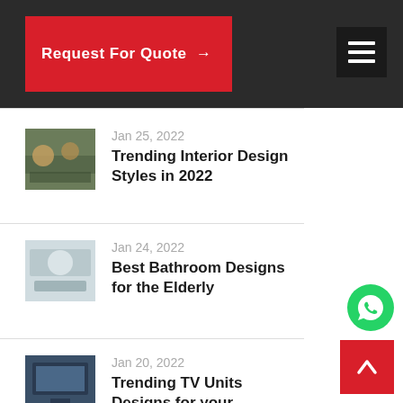Request For Quote →
Jan 25, 2022
Trending Interior Design Styles in 2022
Jan 24, 2022
Best Bathroom Designs for the Elderly
Jan 20, 2022
Trending TV Units Designs for your
[Figure (screenshot): WhatsApp contact button (green circle with phone icon)]
[Figure (screenshot): Scroll to top button (red square with white chevron up)]